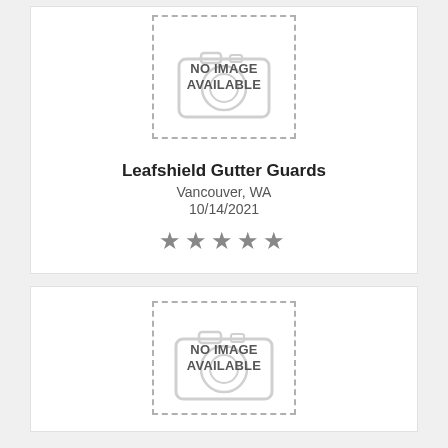[Figure (illustration): No image available placeholder with dashed border and camera icon]
Leafshield Gutter Guards
Vancouver, WA
10/14/2021
[Figure (illustration): Star rating: 5 stars (gray)]
[Figure (illustration): No image available placeholder with dashed border and camera icon (second card)]